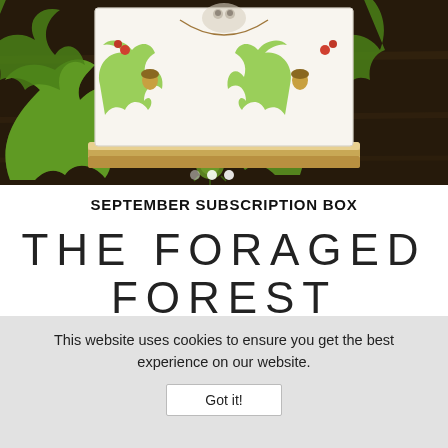[Figure (photo): Photo of a nature-themed art card on a wooden easel, surrounded by green oak leaves on a dark wooden surface. The card features watercolor illustrations of oak leaves, acorns, and red berries in a decorative arrangement. Three carousel navigation dots are visible at the bottom of the image.]
SEPTEMBER SUBSCRIPTION BOX
THE FORAGED FOREST
This website uses cookies to ensure you get the best experience on our website.
Got it!